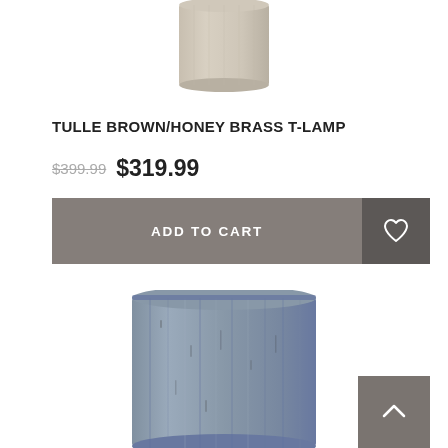[Figure (photo): Top portion of a beige/brown cylindrical lamp shade]
TULLE BROWN/HONEY BRASS T-LAMP
$399.99  $319.99
[Figure (infographic): Add to Cart button bar with heart/wishlist icon]
[Figure (photo): Cylindrical lamp with grey/blue textured finish]
[Figure (infographic): Back to top chevron button]